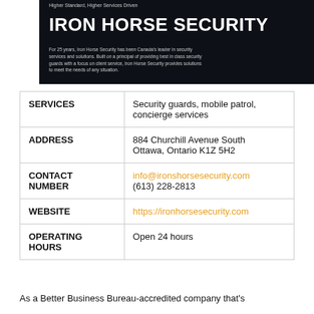[Figure (photo): Dark banner image with Iron Horse Security logo and company description text on dark background]
| SERVICES | Security guards, mobile patrol, concierge services |
| ADDRESS | 884 Churchill Avenue South
Ottawa, Ontario K1Z 5H2 |
| CONTACT NUMBER | info@ironshorsesecurity.com
(613) 228-2813 |
| WEBSITE | https://ironhorsesecurity.com |
| OPERATING HOURS | Open 24 hours |
As a Better Business Bureau-accredited company that's